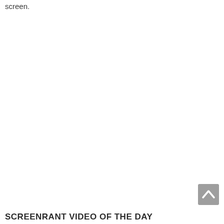screen.
[Figure (other): Scroll-to-top button: a grey rounded square with a white upward-pointing chevron/caret arrow]
SCREENRANT VIDEO OF THE DAY